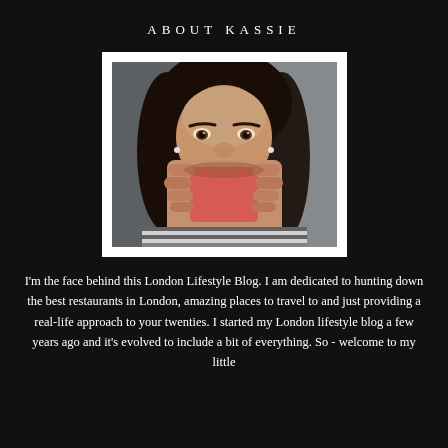ABOUT KASSIE
[Figure (photo): Portrait photo of a young woman with dark hair, holding a red/pink drink up to her face with both hands, wearing a striped top. Bokeh background. Photo is in a white Polaroid-style frame.]
I'm the face behind this London Lifestyle Blog. I am dedicated to hunting down the best restaurants in London, amazing places to travel to and just providing a real-life approach to your twenties. I started my London lifestyle blog a few years ago and it's evolved to include a bit of everything. So - welcome to my little